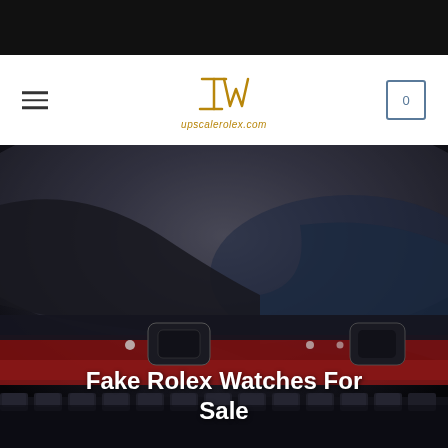upscalerolex.com — navigation header with hamburger menu and cart icon showing 0
[Figure (photo): Close-up macro photograph of a Rolex watch bezel showing the red and black GMT bezel with hour markers, partially blurred dark background, toothed case edge visible at the bottom]
Fake Rolex Watches For Sale